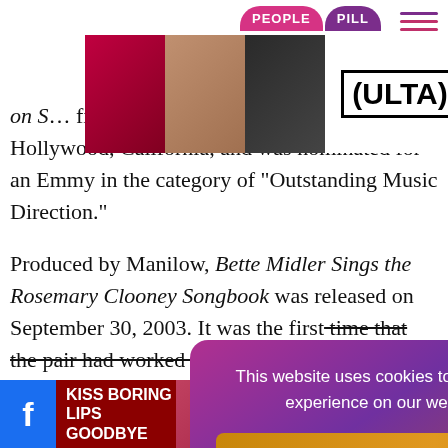[Figure (photo): Ulta Beauty advertisement banner with makeup product images (lips, brush, eyes), Ulta logo, and Shop Now button]
[Figure (screenshot): People Pill navigation tab at top of page]
on S... filmed in the Kodak Theatre in Hollywood, California, and was nominated for an Emmy in the category of "Outstanding Music Direction."
Produced by Manilow, Bette Midler Sings the Rosemary Clooney Songbook was released on September 30, 2003. It was the first time that the pair had worked together in more than tw...hey collaborated ...Peggy Lee So...ed A Barry Mani...nd ...
[Figure (screenshot): Cookie consent dialog overlay with gradient purple-pink background, text 'This website uses cookies to ensure you get the best experience on our website. Learn more' and 'Got it!' button]
[Figure (advertisement): Bottom bar with Facebook icon, 'KISS BORING LIPS GOODBYE' Macy's advertisement, and WhatsApp icon]